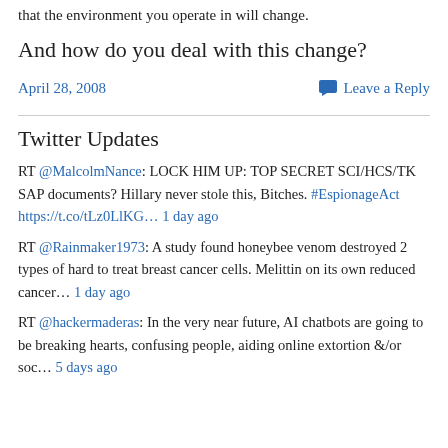that the environment you operate in will change.
And how do you deal with this change?
April 28, 2008
💬 Leave a Reply
Twitter Updates
RT @MalcolmNance: LOCK HIM UP: TOP SECRET SCI/HCS/TK SAP documents? Hillary never stole this, Bitches. #EspionageAct https://t.co/tLz0LlKG… 1 day ago
RT @Rainmaker1973: A study found honeybee venom destroyed 2 types of hard to treat breast cancer cells. Melittin on its own reduced cancer… 1 day ago
RT @hackermaderas: In the very near future, AI chatbots are going to be breaking hearts, confusing people, aiding online extortion &/or soc… 5 days ago